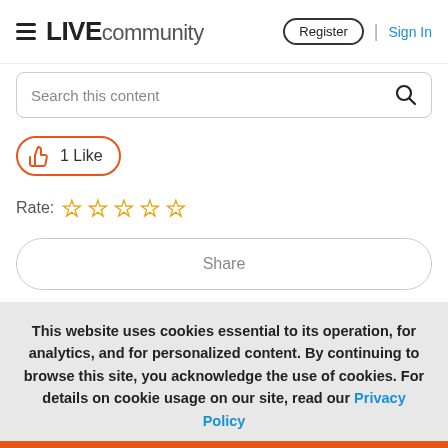LIVE community | Register | Sign In
Search this content
1 Like
Rate: ☆☆☆☆☆
Share
This website uses cookies essential to its operation, for analytics, and for personalized content. By continuing to browse this site, you acknowledge the use of cookies. For details on cookie usage on our site, read our Privacy Policy
Accept
Reject